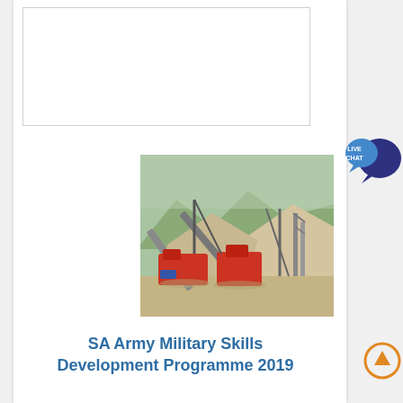[Figure (photo): Aerial view of a mining or quarry site with red heavy machinery, conveyor belts, and large sand/rock piles in a mountainous landscape.]
SA Army Military Skills Development Programme 2019
Puff and Pass provides a listing of the latest information about bursaries and internships for undergraduate students in South Africa SA Army Military Skills